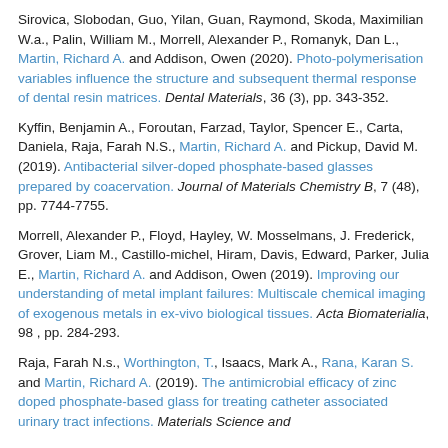Sirovica, Slobodan, Guo, Yilan, Guan, Raymond, Skoda, Maximilian W.a., Palin, William M., Morrell, Alexander P., Romanyk, Dan L., Martin, Richard A. and Addison, Owen (2020). Photo-polymerisation variables influence the structure and subsequent thermal response of dental resin matrices. Dental Materials, 36 (3), pp. 343-352.
Kyffin, Benjamin A., Foroutan, Farzad, Taylor, Spencer E., Carta, Daniela, Raja, Farah N.S., Martin, Richard A. and Pickup, David M. (2019). Antibacterial silver-doped phosphate-based glasses prepared by coacervation. Journal of Materials Chemistry B, 7 (48), pp. 7744-7755.
Morrell, Alexander P., Floyd, Hayley, W. Mosselmans, J. Frederick, Grover, Liam M., Castillo-michel, Hiram, Davis, Edward, Parker, Julia E., Martin, Richard A. and Addison, Owen (2019). Improving our understanding of metal implant failures: Multiscale chemical imaging of exogenous metals in ex-vivo biological tissues. Acta Biomaterialia, 98 , pp. 284-293.
Raja, Farah N.s., Worthington, T., Isaacs, Mark A., Rana, Karan S. and Martin, Richard A. (2019). The antimicrobial efficacy of zinc doped phosphate-based glass for treating catheter associated urinary tract infections. Materials Science and